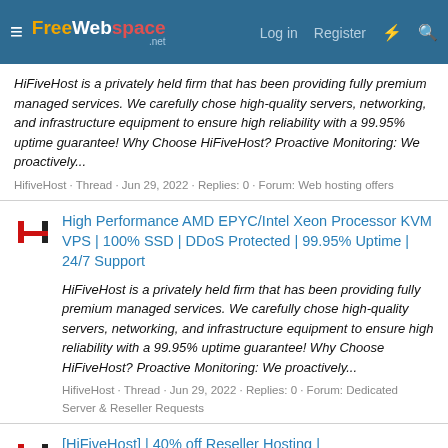FreeWebSpace.net — Log in  Register
HiFiveHost is a privately held firm that has been providing fully premium managed services. We carefully chose high-quality servers, networking, and infrastructure equipment to ensure high reliability with a 99.95% uptime guarantee! Why Choose HiFiveHost? Proactive Monitoring: We proactively...
HifiveHost · Thread · Jun 29, 2022 · Replies: 0 · Forum: Web hosting offers
High Performance AMD EPYC/Intel Xeon Processor KVM VPS | 100% SSD | DDoS Protected | 99.95% Uptime | 24/7 Support
HiFiveHost is a privately held firm that has been providing fully premium managed services. We carefully chose high-quality servers, networking, and infrastructure equipment to ensure high reliability with a 99.95% uptime guarantee! Why Choose HiFiveHost? Proactive Monitoring: We proactively...
HifiveHost · Thread · Jun 29, 2022 · Replies: 0 · Forum: Dedicated Server & Reseller Requests
[HiFiveHost] | 40% off Reseller Hosting |